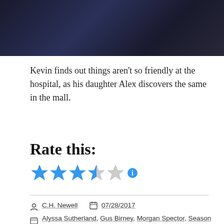[Figure (photo): Dark cinematic still from a TV show or movie, showing a dimly lit scene]
Kevin finds out things aren't so friendly at the hospital, as his daughter Alex discovers the same in the mall.
Rate this:
[Figure (other): Star rating widget showing 3.5 out of 5 blue stars with an info icon]
C.H. Newell   07/28/2017
Alyssa Sutherland, Gus Birney, Morgan Spector, Season 1, Spike, Stephen King, The Mist
Alyssa Sutherland, Experiments, Faith, Gus Birney, Morgan Spector, Psych Ward, The Black Spring, The Mist,